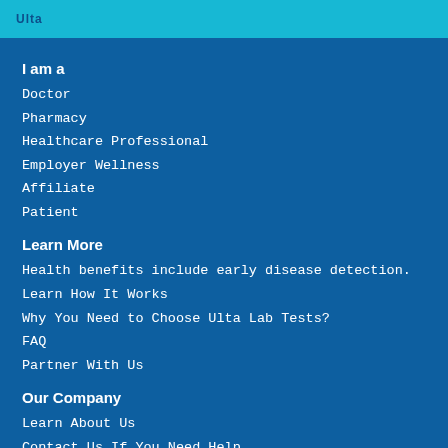Ulta Lab Tests
I am a
Doctor
Pharmacy
Healthcare Professional
Employer Wellness
Affiliate
Patient
Learn More
Health benefits include early disease detection.
Learn How It Works
Why You Need to Choose Ulta Lab Tests?
FAQ
Partner With Us
Our Company
Learn About Us
Contact Us If You Need Help
Press Information Room